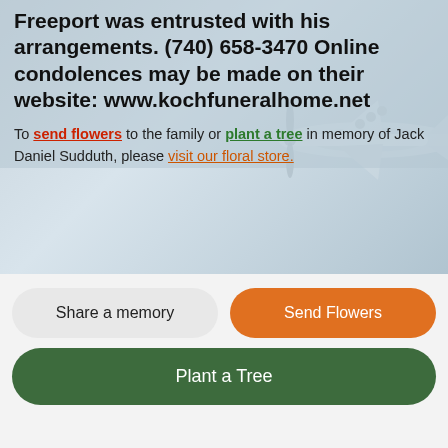Freeport was entrusted with his arrangements. (740) 658-3470 Online condolences may be made on their website: www.kochfuneralhome.net
To send flowers to the family or plant a tree in memory of Jack Daniel Sudduth, please visit our floral store.
[Figure (photo): Background image of a vintage propeller airplane against a cloudy sky]
Services
MILITARY HONORS
Share a memory
Send Flowers
Plant a Tree